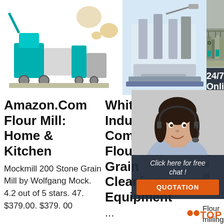[Figure (photo): Flour mill machine with rice milling components, white background]
[Figure (photo): Industrial compact flour mill machine on light blue background]
[Figure (photo): Industrial flour milling factory interior with machines]
24/7 Online
Amazon.Com Flour Mill: Home & Kitchen
White Industry Compact Flour Mill Grain Cleaning Equipment
S Fl P Q
Mockmill 200 Stone Grain Mill by Wolfgang Mock. 4.2 out of 5 stars. 47. $379.00. $379. 00
... High quality White Industry Compact Flour Mill Grain
[Figure (photo): Customer service agent woman with headset, smiling]
Click here for free chat !
QUOTATION
Fl (8 se Flour milling - machinery and equipment (179) Semolina (112) Food
TOP